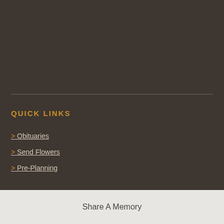QUICK LINKS
> Obituaries
> Send Flowers
> Pre-Planning
Share A Memory